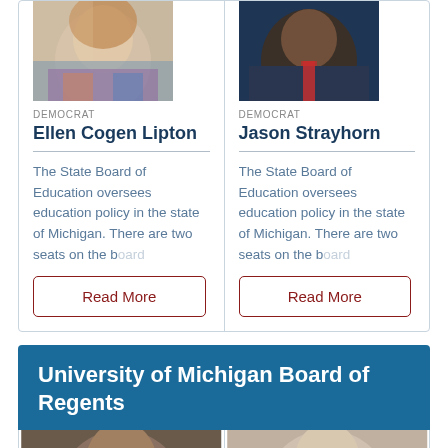[Figure (photo): Photo of Ellen Cogen Lipton, a woman with curly red hair wearing a colorful patterned top]
DEMOCRAT
Ellen Cogen Lipton
The State Board of Education oversees education policy in the state of Michigan. There are two seats on the b...
Read More
[Figure (photo): Photo of Jason Strayhorn, a man in a dark suit with a striped red tie against a blue background]
DEMOCRAT
Jason Strayhorn
The State Board of Education oversees education policy in the state of Michigan. There are two seats on the b...
Read More
University of Michigan Board of Regents
[Figure (photo): Partial photo of a man, cropped at bottom of page]
[Figure (photo): Partial photo of a woman, cropped at bottom of page]